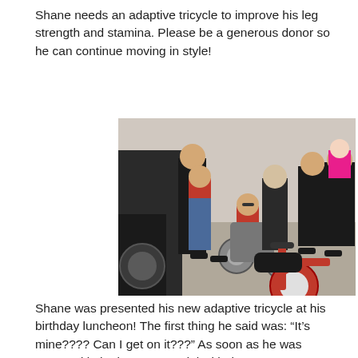Shane needs an adaptive tricycle to improve his leg strength and stamina. Please be a generous donor so he can continue moving in style!
[Figure (photo): A child in a wheelchair smiling at an outdoor gathering, surrounded by a group of adults and children. A red adaptive tricycle is visible in the foreground.]
Shane was presented his new adaptive tricycle at his birthday luncheon! The first thing he said was: “It’s mine???? Can I get on it???” As soon as he was strapped in he began to pedal with the